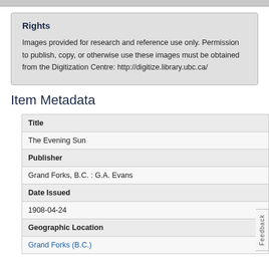Rights
Images provided for research and reference use only. Permission to publish, copy, or otherwise use these images must be obtained from the Digitization Centre: http://digitize.library.ubc.ca/
Item Metadata
| Title |  |
| The Evening Sun |  |
| Publisher |  |
| Grand Forks, B.C. : G.A. Evans |  |
| Date Issued |  |
| 1908-04-24 |  |
| Geographic Location |  |
| Grand Forks (B.C.) |  |